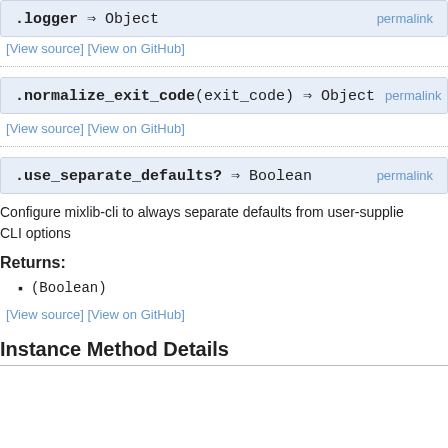.logger ⇒ Object  permalink
[View source] [View on GitHub]
.normalize_exit_code(exit_code) ⇒ Object  permalink
[View source] [View on GitHub]
.use_separate_defaults? ⇒ Boolean  permalink
Configure mixlib-cli to always separate defaults from user-supplied CLI options
Returns:
(Boolean)
[View source] [View on GitHub]
Instance Method Details